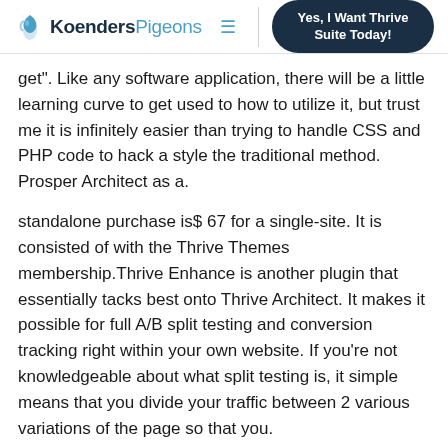KoendersPigeons | Yes, I Want Thrive Suite Today!
get". Like any software application, there will be a little learning curve to get used to how to utilize it, but trust me it is infinitely easier than trying to handle CSS and PHP code to hack a style the traditional method. Prosper Architect as a.
standalone purchase is$ 67 for a single-site. It is consisted of with the Thrive Themes membership.Thrive Enhance is another plugin that essentially tacks best onto Thrive Architect. It makes it possible for full A/B split testing and conversion tracking right within your own website. If you're not knowledgeable about what split testing is, it simple means that you divide your traffic between 2 various variations of the page so that you.